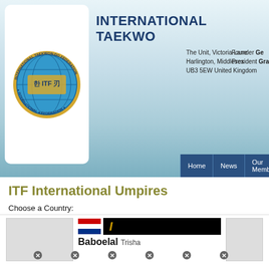[Figure (logo): International Taekwon-Do Federation circular logo with globe and Korean characters]
INTERNATIONAL TAEKWO
The Unit, Victoria Lane
Harlington, Middlesex
UB3 5EW United Kingdom
Founder Ge
President Gra
Home | News | Our Members | International Instructors
ITF International Umpires
Choose a Country:
[Figure (screenshot): Row of country flags: Argentina, Austria, Australia, Belgium, Switzerland, Czech Republic, Germany, Spain, Greece, Hong Kong, and more]
Selected (click to remove or Show All):
[Figure (screenshot): Selected country flags with remove buttons: Canada, Netherlands, Puerto Rico, Slovenia, Slovakia, Thailand]
Search For M
[Figure (screenshot): Card showing Netherlands flag, rank I (gold), name Baboelal Trisha]